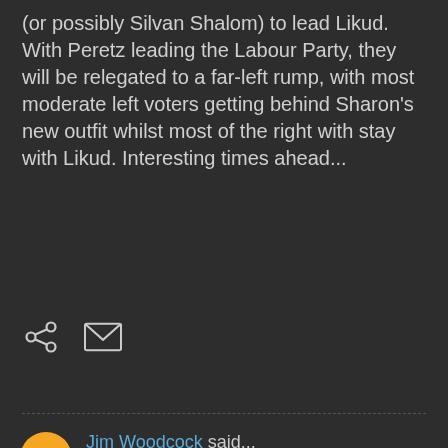(or possibly Silvan Shalom) to lead Likud. With Peretz leading the Labour Party, they will be relegated to a far-left rump, with most moderate left voters getting behind Sharon's new outfit whilst most of the right with stay with Likud. Interesting times ahead...
[Figure (infographic): Share and email icons]
Jim Woodcock said...
This comment has been removed by a blog administrator.
21 November 2005 at 20:32
Jim Woodcock said...
I suspect that during a terrorism crisis, any opposition party, particularly a left-wing one,